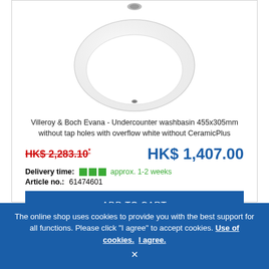[Figure (photo): White oval undercounter washbasin (Villeroy & Boch Evana) viewed from above, showing the bowl, overflow hole, and drain, on a white background.]
Villeroy & Boch Evana - Undercounter washbasin 455x305mm without tap holes with overflow white without CeramicPlus
HK$ 2,283.10* HK$ 1,407.00
Delivery time: approx. 1-2 weeks
Article no.: 61474601
ADD TO CART
The online shop uses cookies to provide you with the best support for all functions. Please click "I agree" to accept cookies. Use of cookies. I agree.